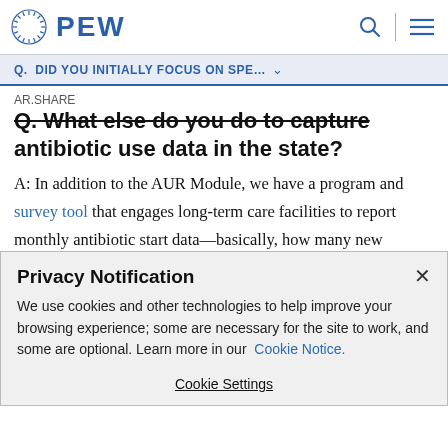PEW
Q. DID YOU INITIALLY FOCUS ON SPE...
Q. What else do you do to capture antibiotic use data in the state?
A: In addition to the AUR Module, we have a program and survey tool that engages long-term care facilities to report monthly antibiotic start data—basically, how many new antibiotics were ordered and administered. Facilities enter
Privacy Notification
We use cookies and other technologies to help improve your browsing experience; some are necessary for the site to work, and some are optional. Learn more in our Cookie Notice.
Cookie Settings